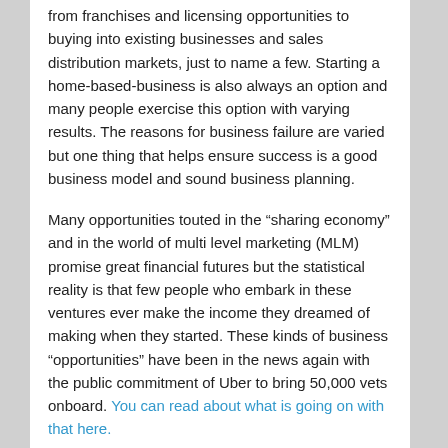from franchises and licensing opportunities to buying into existing businesses and sales distribution markets, just to name a few. Starting a home-based-business is also always an option and many people exercise this option with varying results. The reasons for business failure are varied but one thing that helps ensure success is a good business model and sound business planning.
Many opportunities touted in the “sharing economy” and in the world of multi level marketing (MLM) promise great financial futures but the statistical reality is that few people who embark in these ventures ever make the income they dreamed of making when they started. These kinds of business “opportunities” have been in the news again with the public commitment of Uber to bring 50,000 vets onboard. You can read about what is going on with that here.
If you want to avoid the pitfalls of becoming another statistic in these markets you can mitigate your risk. Take your time, and research the business you are getting into.